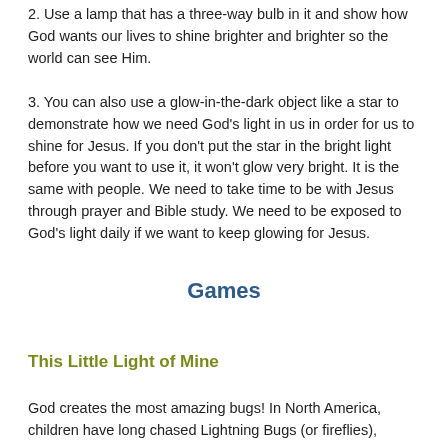2. Use a lamp that has a three-way bulb in it and show how God wants our lives to shine brighter and brighter so the world can see Him.
3. You can also use a glow-in-the-dark object like a star to demonstrate how we need God's light in us in order for us to shine for Jesus. If you don't put the star in the bright light before you want to use it, it won't glow very bright. It is the same with people. We need to take time to be with Jesus through prayer and Bible study. We need to be exposed to God's light daily if we want to keep glowing for Jesus.
Games
This Little Light of Mine
God creates the most amazing bugs! In North America, children have long chased Lightning Bugs (or fireflies), attracted by their lighting and racing to d...